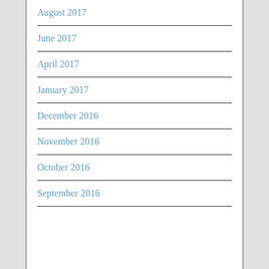August 2017
June 2017
April 2017
January 2017
December 2016
November 2016
October 2016
September 2016